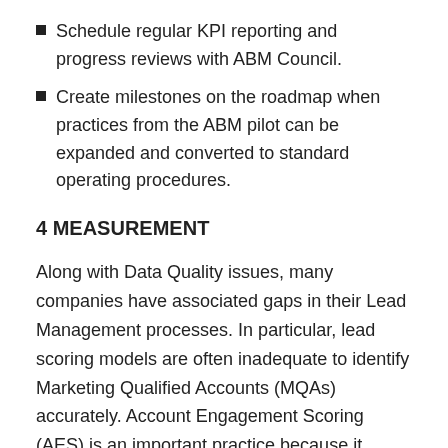Schedule regular KPI reporting and progress reviews with ABM Council.
Create milestones on the roadmap when practices from the ABM pilot can be expanded and converted to standard operating procedures.
4 MEASUREMENT
Along with Data Quality issues, many companies have associated gaps in their Lead Management processes. In particular, lead scoring models are often inadequate to identify Marketing Qualified Accounts (MQAs) accurately. Account Engagement Scoring (AES) is an important practice because it triggers activity more quickly when intent is evident across several key-account contacts.
The ABM Council recommended in the previous section is the appropriate place to review and improve lead